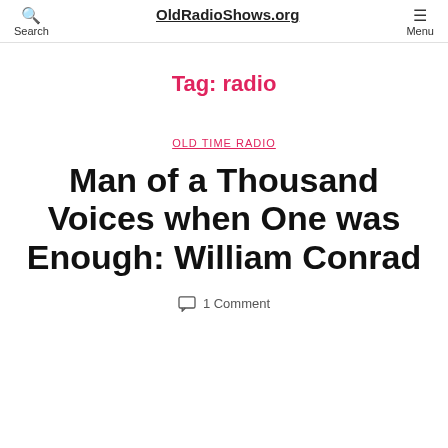OldRadioShows.org | Search | Menu
Tag: radio
OLD TIME RADIO
Man of a Thousand Voices when One was Enough: William Conrad
1 Comment